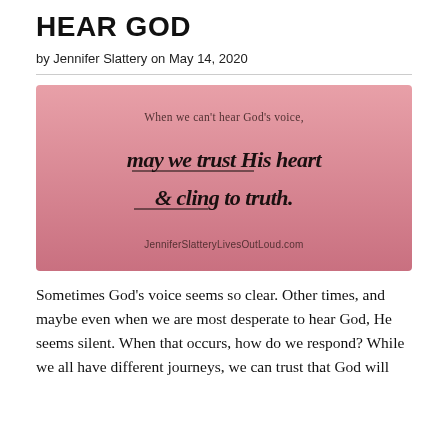HEAR GOD
by Jennifer Slattery on May 14, 2020
[Figure (illustration): Pink gradient background with the quote: 'When we can't hear God's voice, may we trust His heart & cling to truth.' with handwritten-style script for the main quote text and 'JenniferSlatteryLivesOutLoud.com' at the bottom.]
Sometimes God's voice seems so clear. Other times, and maybe even when we are most desperate to hear God, He seems silent. When that occurs, how do we respond? While we all have different journeys, we can trust that God will